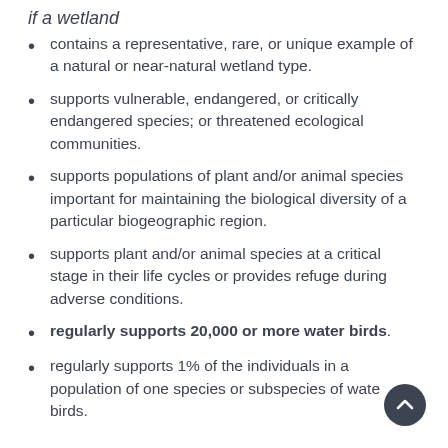if a wetland
contains a representative, rare, or unique example of a natural or near-natural wetland type.
supports vulnerable, endangered, or critically endangered species; or threatened ecological communities.
supports populations of plant and/or animal species important for maintaining the biological diversity of a particular biogeographic region.
supports plant and/or animal species at a critical stage in their life cycles or provides refuge during adverse conditions.
regularly supports 20,000 or more water birds.
regularly supports 1% of the individuals in a population of one species or subspecies of water birds.